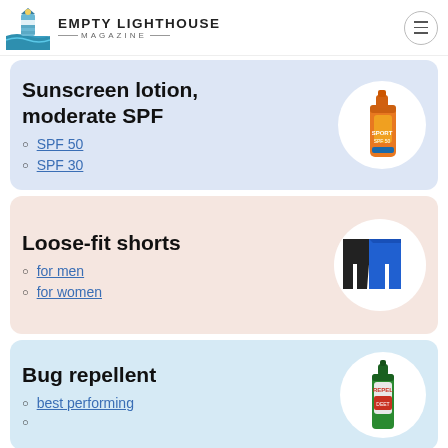EMPTY LIGHTHOUSE MAGAZINE
Sunscreen lotion, moderate SPF
SPF 50
SPF 30
[Figure (photo): Orange sunscreen spray bottle]
Loose-fit shorts
for men
for women
[Figure (photo): Black and blue loose-fit shorts]
Bug repellent
best performing
[Figure (photo): Green Repel bug repellent spray bottle]